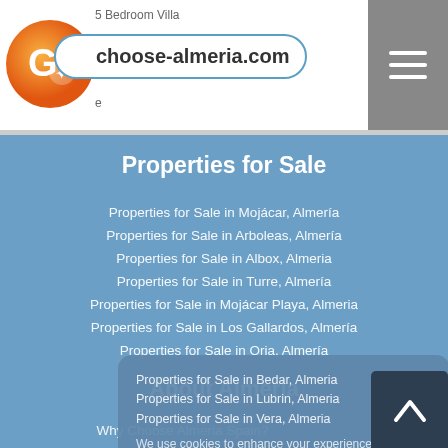choose-almeria.com
Properties for Sale
Properties for Sale in Mojácar, Almería
Properties for Sale in Arboleas, Almería
Properties for Sale in Albox, Almeria
Properties for Sale in Turre, Almería
Properties for Sale in Mojácar Playa, Almeria
Properties for Sale in Los Gallardos, Almería
Properties for Sale in Oria, Almería
Properties for Sale in Bedar, Almeria
Properties for Sale in Lubrin, Almeria
Properties for Sale in Vera, Almeria
We use cookies to enhance your experience on our website. By continuing to browse, we assume that you are happy to receive our cookies.
Continue
About Almeria
Why Choose Almeria Spain?